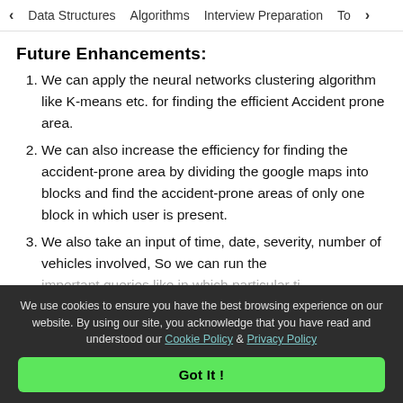< Data Structures   Algorithms   Interview Preparation   To>
Future Enhancements:
We can apply the neural networks clustering algorithm like K-means etc. for finding the efficient Accident prone area.
We can also increase the efficiency for finding the accident-prone area by dividing the google maps into blocks and find the accident-prone areas of only one block in which user is present.
We also take an input of time, date, severity, number of vehicles involved, So we can run the important queries like in which particular ti...
We use cookies to ensure you have the best browsing experience on our website. By using our site, you acknowledge that you have read and understood our Cookie Policy & Privacy Policy
Got It !